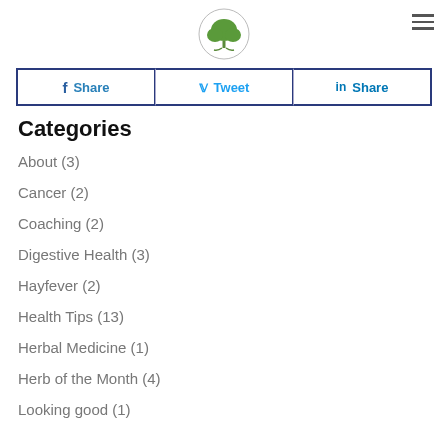The Living Herb logo
f Share  Tweet  in Share
Categories
About (3)
Cancer (2)
Coaching (2)
Digestive Health (3)
Hayfever (2)
Health Tips (13)
Herbal Medicine (1)
Herb of the Month (4)
Looking good (1)